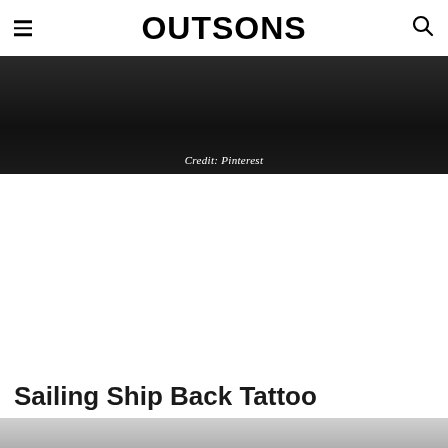OUTSONS
[Figure (photo): Dark photograph with text overlay reading 'Credit: Pinterest' at the bottom center]
Credit: Pinterest
Sailing Ship Back Tattoo
[Figure (photo): Grayscale/light photo of a sailing ship back tattoo design]